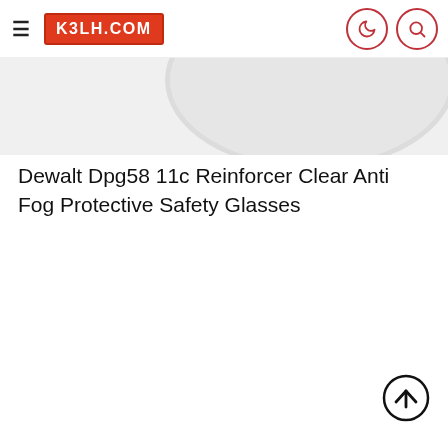k3lh.com
[Figure (photo): Partial view of safety glasses lens, light gray oval shape against light background]
Dewalt Dpg58 11c Reinforcer Clear Anti Fog Protective Safety Glasses